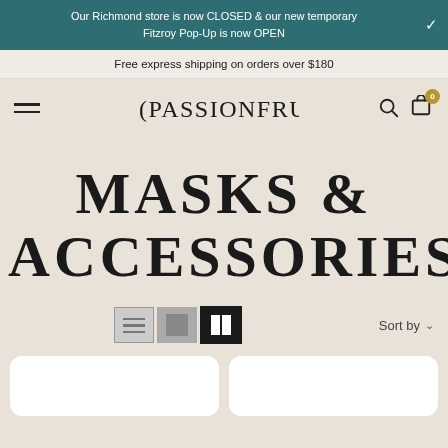Our Richmond store is now CLOSED & our new temporary Fitzroy Pop-Up is now OPEN
Free express shipping on orders over $180
PASSIONFRUIT — navigation header with hamburger menu, search and cart (0 items)
MASKS & ACCESSORIES
Sort by — view toggle controls (list, grid, 2-column)
[Figure (screenshot): Two white rounded-rectangle product card thumbnails partially visible at the bottom of the page]